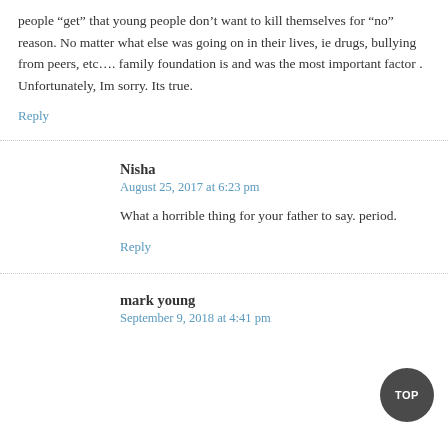people “get” that young people don’t want to kill themselves for “no” reason. No matter what else was going on in their lives, ie drugs, bullying from peers, etc…. family foundation is and was the most important factor . Unfortunately, Im sorry. Its true.
Reply
Nisha
August 25, 2017 at 6:23 pm
What a horrible thing for your father to say. period.
Reply
mark young
September 9, 2018 at 4:41 pm